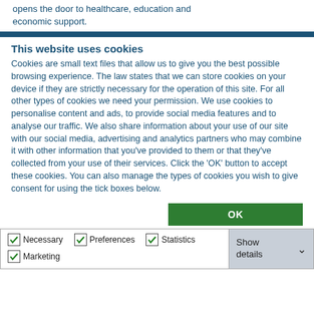opens the door to healthcare, education and economic support.
This website uses cookies
Cookies are small text files that allow us to give you the best possible browsing experience. The law states that we can store cookies on your device if they are strictly necessary for the operation of this site. For all other types of cookies we need your permission. We use cookies to personalise content and ads, to provide social media features and to analyse our traffic. We also share information about your use of our site with our social media, advertising and analytics partners who may combine it with other information that you've provided to them or that they've collected from your use of their services. Click the 'OK' button to accept these cookies. You can also manage the types of cookies you wish to give consent for using the tick boxes below.
OK
Necessary  Preferences  Statistics  Marketing  Show details